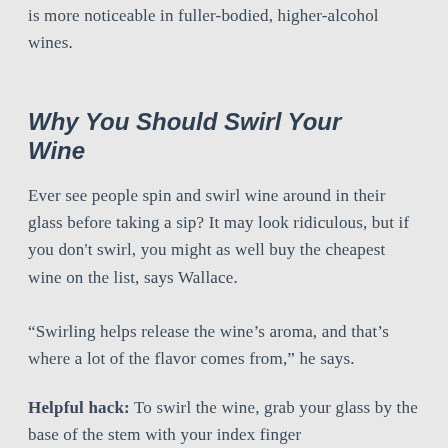is more noticeable in fuller-bodied, higher-alcohol wines.
Why You Should Swirl Your Wine
Ever see people spin and swirl wine around in their glass before taking a sip? It may look ridiculous, but if you don't swirl, you might as well buy the cheapest wine on the list, says Wallace.
“Swirling helps release the wine’s aroma, and that’s where a lot of the flavor comes from,” he says.
Helpful hack: To swirl the wine, grab your glass by the base of the stem with your index finger